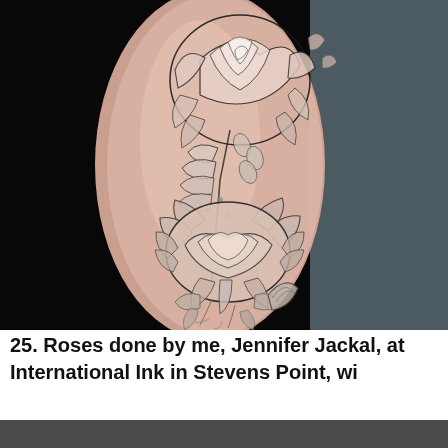[Figure (photo): A close-up photograph of a tattooed forearm showing a detailed fine-line black ink tattoo of roses and peonies with leaves, photographed against a dark/black background with a grey fabric visible on the right side.]
25. Roses done by me, Jennifer Jackal, at International Ink in Stevens Point, wi
[Figure (photo): Partially visible photograph at the bottom of the page, cropped.]